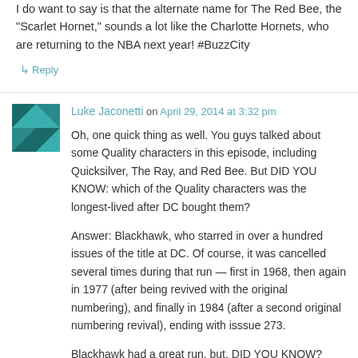I do want to say is that the alternate name for The Red Bee, the "Scarlet Hornet," sounds a lot like the Charlotte Hornets, who are returning to the NBA next year! #BuzzCity
↳ Reply
Luke Jaconetti on April 29, 2014 at 3:32 pm
Oh, one quick thing as well. You guys talked about some Quality characters in this episode, including Quicksilver, The Ray, and Red Bee. But DID YOU KNOW: which of the Quality characters was the longest-lived after DC bought them?
Answer: Blackhawk, who starred in over a hundred issues of the title at DC. Of course, it was cancelled several times during that run — first in 1968, then again in 1977 (after being revived with the original numbering), and finally in 1984 (after a second original numbering revival), ending with isssue 273.
Blackhawk had a great run, but, DID YOU KNOW? What is the one Quality book which continued at DC, uninterrupted, for 30 years? Answer: GI Combat, which ran at DC from #44 through #288, spanning from 1954 through 1984.